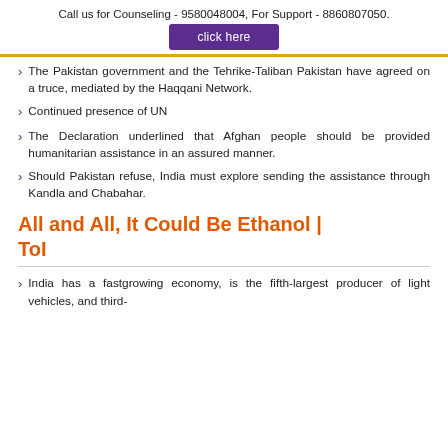Call us for Counseling - 9580048004, For Support - 8860807050.
click here
The Pakistan government and the Tehrike-Taliban Pakistan have agreed on a truce, mediated by the Haqqani Network.
Continued presence of UN
The Declaration underlined that Afghan people should be provided humanitarian assistance in an assured manner.
Should Pakistan refuse, India must explore sending the assistance through Kandla and Chabahar.
All and All, It Could Be Ethanol | ToI
India has a fastgrowing economy, is the fifth-largest producer of light vehicles, and third-